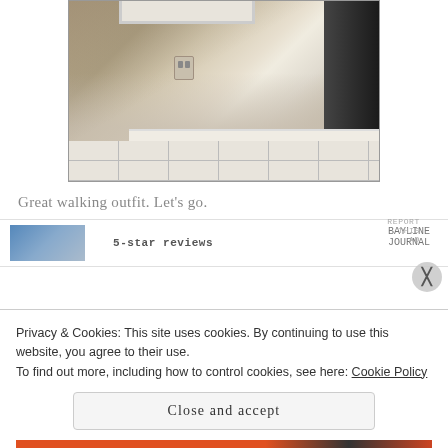[Figure (photo): Interior photo showing a corner of a room with white walls, a window at the top, a wall outlet, white baseboard molding, white tile floor, and a dark staircase on the right side.]
Great walking outfit. Let's go.
[Figure (screenshot): Advertisement strip showing a thumbnail image on the left, '5-star reviews' text in the center, and 'BAYLINE JOURNAL' text with 'REPORT THIS AD' on the right.]
Privacy & Cookies: This site uses cookies. By continuing to use this website, you agree to their use.
To find out more, including how to control cookies, see here: Cookie Policy
Close and accept